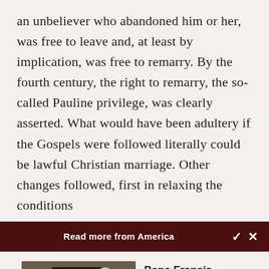an unbeliever who abandoned him or her, was free to leave and, at least by implication, was free to remarry. By the fourth century, the right to remarry, the so-called Pauline privilege, was clearly asserted. What would have been adultery if the Gospels were followed literally could be lawful Christian marriage. Other changes followed, first in relaxing the conditions
Read more from America
[Figure (photo): Photo of Pope Francis meeting with a group of people in a room, with people in foreground with their backs to the camera]
Pope Francis entrusts 3 female saints with new...
Cindy Wooden - Catholic News Service